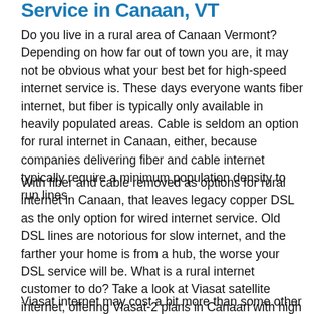Service in Canaan, VT
Do you live in a rural area of Canaan Vermont? Depending on how far out of town you are, it may not be obvious what your best bet for high-speed internet service is. These days everyone wants fiber internet, but fiber is typically only available in heavily populated areas. Cable is seldom an option for rural internet in Canaan, either, because companies delivering fiber and cable internet typically require a minimum population density to run lines.
With fiber and cable removed as options for rural internet in Canaan, that leaves legacy copper DSL as the only option for wired internet service. Old DSL lines are notorious for slow internet, and the farther your home is from a hub, the worse your DSL service will be. What is a rural internet customer to do? Take a look at Viasat satellite internet, offering Viasat-2 plans in Canaan with high speed download speeds and data.
Viasat internet may cost a bit more than some other internet